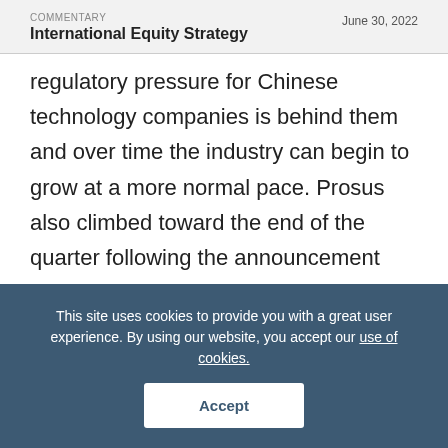COMMENTARY
International Equity Strategy
June 30, 2022
regulatory pressure for Chinese technology companies is behind them and over time the industry can begin to grow at a more normal pace. Prosus also climbed toward the end of the quarter following the announcement that the company is planning to sell part of its $134 billion stake in Tencent. Prosus will
This site uses cookies to provide you with a great user experience. By using our website, you accept our use of cookies.
Accept